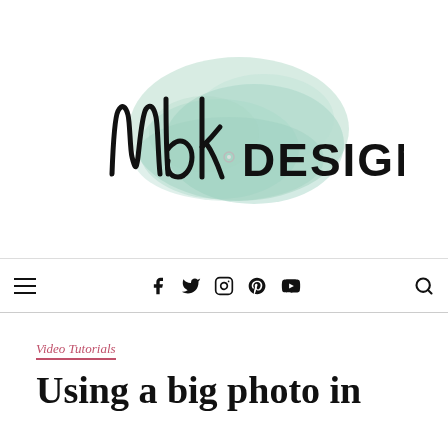[Figure (logo): NbK Design logo — handwritten 'nbk' script in black ink over a mint/teal watercolor splash, with 'DESIGN' in bold sans-serif capitals]
☰  🅕 🐦 📷 Ⓟ ▶  🔍
Video Tutorials
Using a big photo in